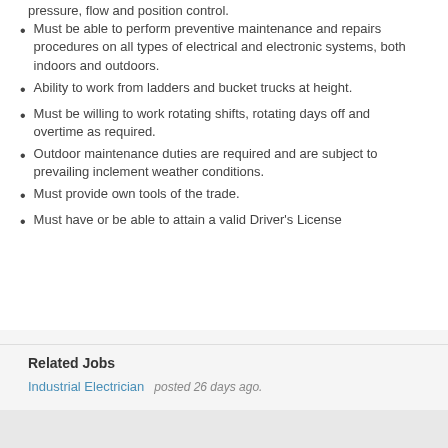pressure, flow and position control.
Must be able to perform preventive maintenance and repairs procedures on all types of electrical and electronic systems, both indoors and outdoors.
Ability to work from ladders and bucket trucks at height.
Must be willing to work rotating shifts, rotating days off and overtime as required.
Outdoor maintenance duties are required and are subject to prevailing inclement weather conditions.
Must provide own tools of the trade.
Must have or be able to attain a valid Driver's License
Related Jobs
Industrial Electrician    posted 26 days ago.